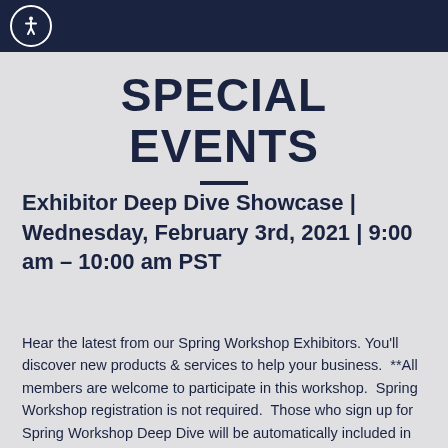[Figure (logo): Dark navy header bar with accessibility icon (wheelchair person in circle) on the left]
SPECIAL EVENTS
Exhibitor Deep Dive Showcase | Wednesday, February 3rd, 2021 | 9:00 am – 10:00 am PST
Hear the latest from our Spring Workshop Exhibitors. You'll discover new products & services to help your business.  **All members are welcome to participate in this workshop.  Spring Workshop registration is not required.  Those who sign up for Spring Workshop Deep Dive will be automatically included in this workshop.  For registration outside of Spring...